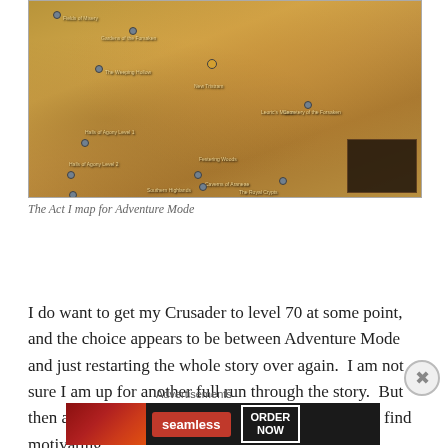[Figure (screenshot): The Act I map for Adventure Mode in Diablo III, showing a parchment-style game map with various named locations such as Fields of Misery, Gardens of the Forsaken, The Weeping Hollow, New Tristram, Halls of Agony Level 1/2/3, Southern Highlands, Caverns of Araneae, and others with map markers.]
The Act I map for Adventure Mode
I do want to get my Crusader to level 70 at some point, and the choice appears to be between Adventure Mode and just restarting the whole story over again.  I am not sure I am up for another full run through the story.  But then again, moving through the story is something I find motivating.
Advertisements
[Figure (screenshot): A Seamless food delivery advertisement banner showing pizza on the left, the red Seamless logo in the center, and an ORDER NOW button on the right with a dark background.]